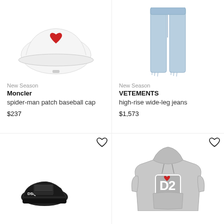[Figure (photo): White Moncler spider-man patch baseball cap on white background]
[Figure (photo): Light blue VETEMENTS high-rise wide-leg jeans on white background]
New Season
Moncler
spider-man patch baseball cap
$237
New Season
VETEMENTS
high-rise wide-leg jeans
$1,573
[Figure (photo): Black sneakers/shoes on white background (partially visible)]
[Figure (photo): Grey Dsquared2 logo hoodie on white background]